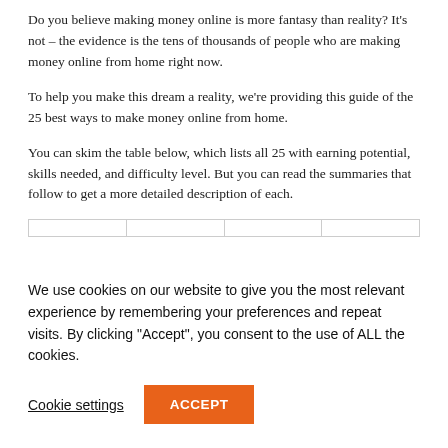Do you believe making money online is more fantasy than reality? It’s not – the evidence is the tens of thousands of people who are making money online from home right now.
To help you make this dream a reality, we’re providing this guide of the 25 best ways to make money online from home.
You can skim the table below, which lists all 25 with earning potential, skills needed, and difficulty level. But you can read the summaries that follow to get a more detailed description of each.
|  |
We use cookies on our website to give you the most relevant experience by remembering your preferences and repeat visits. By clicking “Accept”, you consent to the use of ALL the cookies.
Cookie settings
ACCEPT